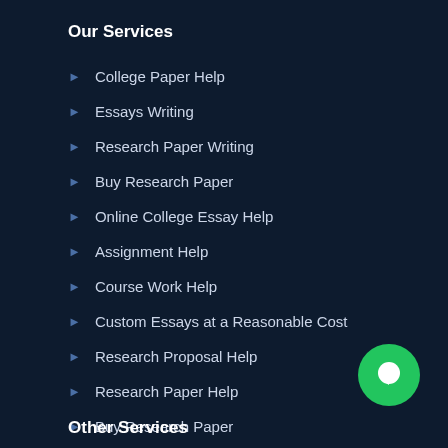Our Services
College Paper Help
Essays Writing
Research Paper Writing
Buy Research Paper
Online College Essay Help
Assignment Help
Course Work Help
Custom Essays at a Reasonable Cost
Research Proposal Help
Research Paper Help
Buy Research Paper
[Figure (illustration): Green circular chat button with white speech bubble icon]
Other Services